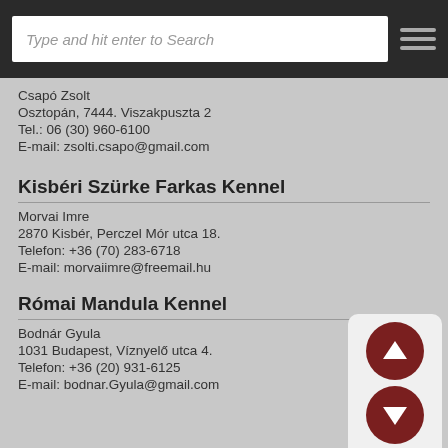Type and hit enter to Search
Csapó Zsolt
Osztopán, 7444. Viszakpuszta 2
Tel.: 06 (30) 960-6100
E-mail: zsolti.csapo@gmail.com
Kisbéri Szürke Farkas Kennel
Morvai Imre
2870 Kisbér, Perczel Mór utca 18.
Telefon: +36 (70) 283-6718
E-mail: morvaiimre@freemail.hu
Római Mandula Kennel
Bodnár Gyula
1031 Budapest, Víznyelő utca 4.
Telefon: +36 (20) 931-6125